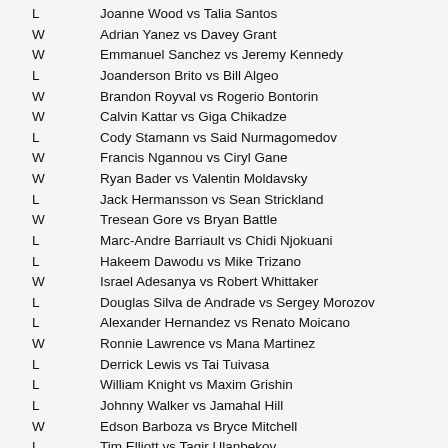L   Joanne Wood vs Talia Santos
W   Adrian Yanez vs Davey Grant
W   Emmanuel Sanchez vs Jeremy Kennedy
L   Joanderson Brito vs Bill Algeo
W   Brandon Royval vs Rogerio Bontorin
W   Calvin Kattar vs Giga Chikadze
L   Cody Stamann vs Said Nurmagomedov
W   Francis Ngannou vs Ciryl Gane
W   Ryan Bader vs Valentin Moldavsky
L   Jack Hermansson vs Sean Strickland
W   Tresean Gore vs Bryan Battle
L   Marc-Andre Barriault vs Chidi Njokuani
L   Hakeem Dawodu vs Mike Trizano
W   Israel Adesanya vs Robert Whittaker
L   Douglas Silva de Andrade vs Sergey Morozov
L   Alexander Hernandez vs Renato Moicano
W   Ronnie Lawrence vs Mana Martinez
L   Derrick Lewis vs Tai Tuivasa
L   William Knight vs Maxim Grishin
L   Johnny Walker vs Jamahal Hill
W   Edson Barboza vs Bryce Mitchell
L   Tim Elliott vs Tagir Ulanbekov
L   Drew Dober vs Terrance McKinney
W   J.J. Aldrich vs Gillian Robertson
W   Sodiq Yusuff vs Alex Caceres
W   Thiago Santos vs Magomed Ankalaev